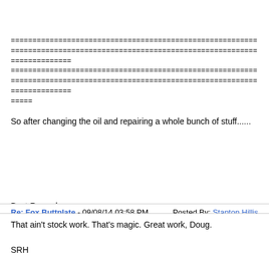================================================================================================================================================================================================================================================================================================================================================================================================================================================================================================================================================================================================================================================================================================================================================================================================================================================================================================================================================================================================================================================================================================================================================================================================================================================================================================================================================================================================================================================================================================================================================================================================================================================================================================================================================================================================================================================================================================================================================================================================================================================================================================================================================================================================================================================================================================================================================================================================================================================================================================================================================================================================================================================================================================================================================================================================================================================================================================================================================================================================================================================================================================================================================================================================================================================================================================================================================================================================================================================================================================================================================================================================================================================================================================================================================================================================================================================================================================================================================================================================================================================================================================================================================================================================================================================================================================================================================================================================================================================================================================================================================================================================================================================================================================================================================================================================================================================================================================================================================================================================================================================================================================================================================================================================================================================================================================================================================================================================================================================================================================================================================================================================================================================================================================================================================================================================================================================================================================================================================================================================================================================================================================================================================================================================================================================================================================================================================================================================================================================================================================================================================================================================================================================================
So after changing the oil and repairing a whole bunch of stuff......
Best Regards,
Re: Fox Buttplate - 09/08/14 03:58 PM     Posted By: Stanton Hillis
That ain't stock work. That's magic. Great work, Doug.

SRH